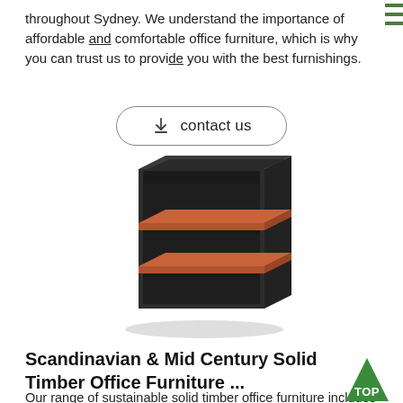throughout Sydney. We understand the importance of affordable and comfortable office furniture, which is why you can trust us to provide you with the best furnishings.
[Figure (other): Contact us button with download icon and rounded rectangle border]
[Figure (photo): A dark-framed wooden shelving unit with two warm timber-colored shelves, shown in 3D perspective view]
Scandinavian & Mid Century Solid Timber Office Furniture ...
Our range of sustainable solid timber office furniture includes office chairs, desks, display shelves / bookshelves and cabinets available online or in our Melbourne and Sydney shops with home delivery Australia wide. Item in Seconds! Choose timeless walnut .